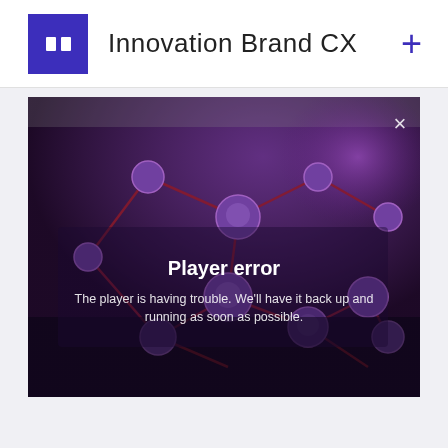Innovation Brand CX
[Figure (screenshot): Video player error screen showing a purple-tinted molecular/network background with 'Player error' title and error message overlay. A close (×) button is in the top right corner.]
Player error
The player is having trouble. We'll have it back up and running as soon as possible.